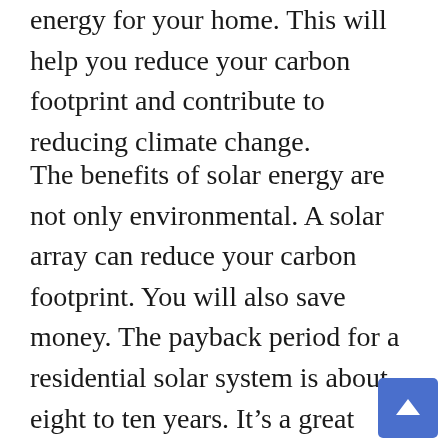energy for your home. This will help you reduce your carbon footprint and contribute to reducing climate change.
The benefits of solar energy are not only environmental. A solar array can reduce your carbon footprint. You will also save money. The payback period for a residential solar system is about eight to ten years. It's a great financial investment. With a solar array, you earn money for the rest of your life. The payback period will depend on your location and climate, but in most cases, it's a solid choice.
Solar arrays can be a great investment. You will reduce your utility bills and contribute to reducing climate change. A solar array is a great investment.